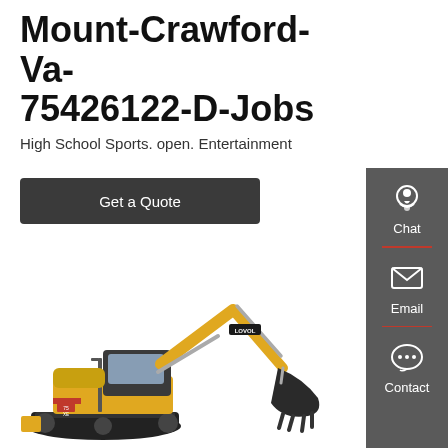Mount-Crawford-Va-75426122-D-Jobs
High School Sports. open. Entertainment
Get a Quote
[Figure (photo): Yellow Lovol mini excavator on white background, shown from left side with arm raised and bucket attached]
Chat
Email
Contact